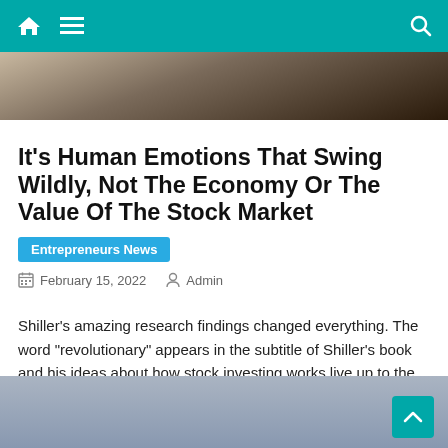Navigation bar with home, menu, and search icons
[Figure (photo): Hero image strip showing a dark background with electronic devices]
It's Human Emotions That Swing Wildly, Not The Economy Or The Value Of The Stock Market
Entrepreneurs News
February 15, 2022   Admin
Shiller's amazing research findings changed everything. The word "revolutionary" appears in the subtitle of Shiller's book and his ideas about how stock investing works live up to the grand claim.
[Figure (photo): Bottom image placeholder in blue-grey tones]